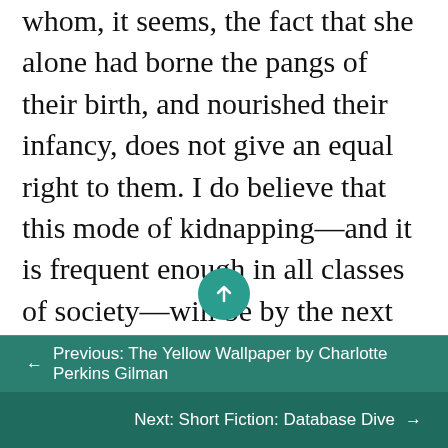whom, it seems, the fact that she alone had borne the pangs of their birth, and nourished their infancy, does not give an equal right to them. I do believe that this mode of kidnapping—and it is frequent enough in all classes of society—will be by the next age viewed as it is by Heaven now, and that the man who avails himself of the shelter of men's laws to steal from a mother her own children, or arrogate any superior right in them, save that of superior virtue, will bear the stigma he deserves, in common with him who steals grown men from their mother-land, their hopes, and their homes.
← Previous: The Yellow Wallpaper by Charlotte Perkins Gilman
Next: Short Fiction: Database Dive →